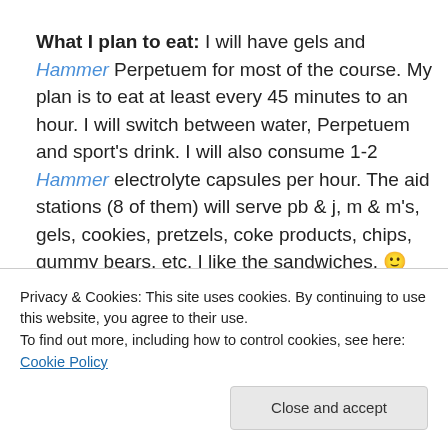What I plan to eat: I will have gels and Hammer Perpetuem for most of the course. My plan is to eat at least every 45 minutes to an hour. I will switch between water, Perpetuem and sport's drink. I will also consume 1-2 Hammer electrolyte capsules per hour. The aid stations (8 of them) will serve pb & j, m & m's, gels, cookies, pretzels, coke products, chips, gummy bears, etc. I like the sandwiches. 🙂
Privacy & Cookies: This site uses cookies. By continuing to use this website, you agree to their use. To find out more, including how to control cookies, see here: Cookie Policy
Close and accept